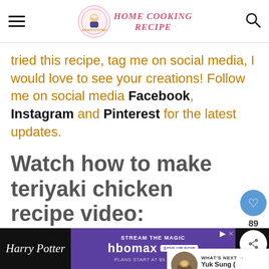HOME COOKING RECIPE
tried this recipe, tag me on social media, I would love to see your creations! Follow me on social media Facebook, Instagram and Pinterest for the latest updates.
Watch how to make teriyaki chicken recipe video:
[Figure (other): Social interaction buttons: heart/like button with count 89, and share button]
[Figure (other): What's Next panel showing a food image thumbnail and text 'Yuk Sung ( Chinese...']
[Figure (other): Advertisement bar at the bottom: Harry Potter branding on left, HBO Max streaming ad in center (Stream The Magic, hbomax, Sign Up Now, Plans Start at $9.99/month), unrelated logo on right]